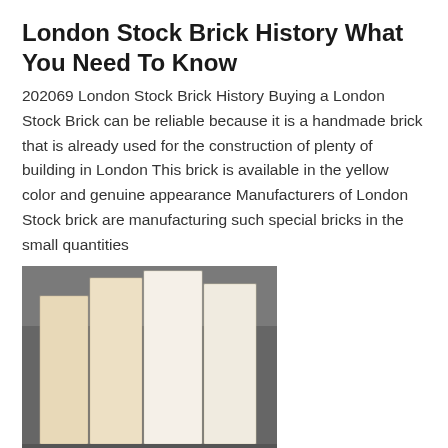London Stock Brick History What You Need To Know
202069 London Stock Brick History Buying a London Stock Brick can be reliable because it is a handmade brick that is already used for the construction of plenty of building in London This brick is available in the yellow color and genuine appearance Manufacturers of London Stock brick are manufacturing such special bricks in the small quantities
[Figure (photo): Photograph of several pale cream/white London Stock bricks standing upright on a grey background]
Silica Selling Leads
202229 High quality silica sand for sale Nov 24 2021